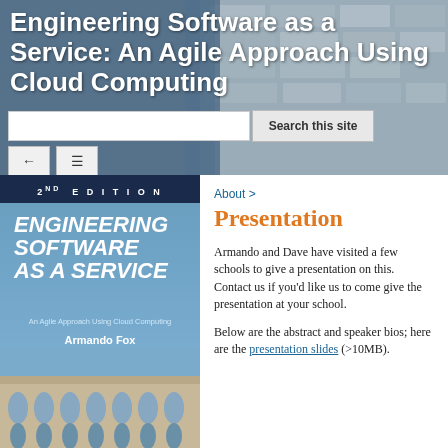Engineering Software as a Service: An Agile Approach Using Cloud Computing
[Figure (screenshot): Website header with stone/aqueduct background and search bar with 'Search this site' button and navigation icons]
[Figure (photo): Book cover: Engineering Software as a Service, 2nd Edition, An Agile Approach Using Cloud Computing, by Armando Fox and David Patterson, with aqueduct photo]
About >
Presentation
Armando and Dave have visited a few schools to give a presentation on this. Contact us if you’d like us to come give the presentation at your school.
Below are the abstract and speaker bios; here are the presentation slides (>10MB).